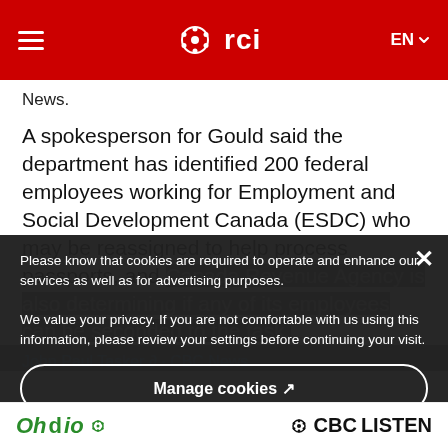RCI — Radio Canada International — EN
News.
A spokesperson for Gould said the department has identified 200 federal employees working for Employment and Social Development Canada (ESDC) who may be reassigned to help process passports, and Canada Revenue Agency is also determining if any of its employees can be seconded to the task.
John Paul Tasker ∂ · CBC News
Please know that cookies are required to operate and enhance our services as well as for advertising purposes. We value your privacy. If you are not comfortable with us using this information, please review your settings before continuing your visit.
Manage cookies ↗
Consult the complete audio offer
More information ↗
Ohdio  CBC LISTEN